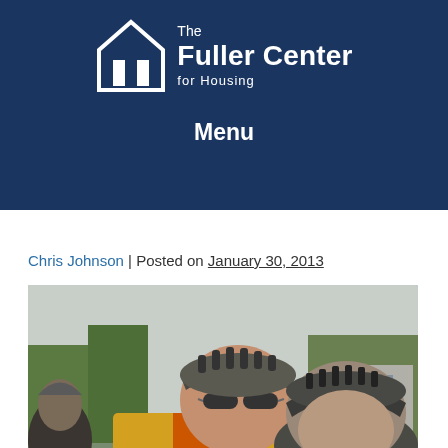[Figure (logo): The Fuller Center for Housing logo with house icon on dark navy blue background]
Menu
Chris Johnson | Posted on January 30, 2013
[Figure (photo): Two cyclists wearing helmets posing together outdoors, one in yellow/orange jacket in foreground]